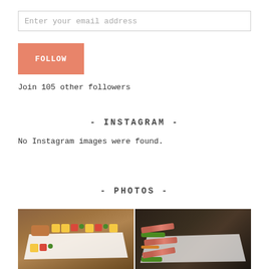Enter your email address
FOLLOW
Join 105 other followers
- INSTAGRAM -
No Instagram images were found.
- PHOTOS -
[Figure (photo): Food photo on left: fish with mango salsa on a white plate over wooden table]
[Figure (photo): Food photo on right: sliced steak with green herb sauce and salad on a white plate over wooden table]